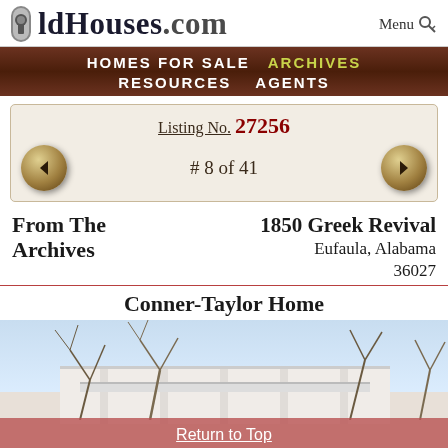OldHouses.com — Menu
HOMES FOR SALE   ARCHIVES   RESOURCES   AGENTS
Listing No. 27256
# 8 of 41
From The Archives
1850 Greek Revival
Eufaula, Alabama
36027
Conner-Taylor Home
[Figure (photo): Exterior photo of the Conner-Taylor Home, a Greek Revival house in Eufaula, Alabama, with bare winter trees in foreground and a columned porch visible]
Return to Top